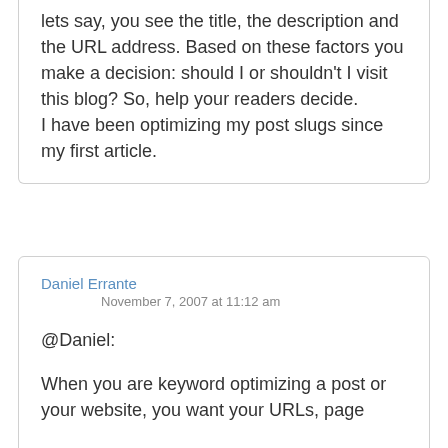lets say, you see the title, the description and the URL address. Based on these factors you make a decision: should I or shouldn't I visit this blog? So, help your readers decide.

I have been optimizing my post slugs since my first article.
Daniel Errante
November 7, 2007 at 11:12 am
@Daniel:

When you are keyword optimizing a post or your website, you want your URLs, page